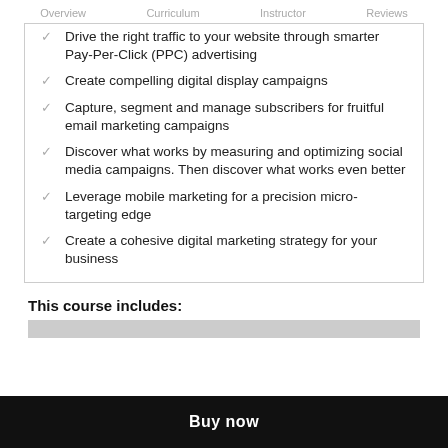Overview   Curriculum   Instructor   Reviews
Drive the right traffic to your website through smarter Pay-Per-Click (PPC) advertising
Create compelling digital display campaigns
Capture, segment and manage subscribers for fruitful email marketing campaigns
Discover what works by measuring and optimizing social media campaigns. Then discover what works even better
Leverage mobile marketing for a precision micro-targeting edge
Create a cohesive digital marketing strategy for your business
This course includes:
Buy now